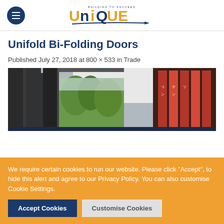Unique — navigation header with logo
Unifold Bi-Folding Doors
Published July 27, 2018 at 800 × 533 in Trade
[Figure (photo): Interior photo showing bi-folding doors open, with a view of trees outside and decorative wall panels inside]
We require certain cookies to run our website. Please click "Accept", to hide this alert and agree to our Privacy Policy. You can also customise Cookie Settings.